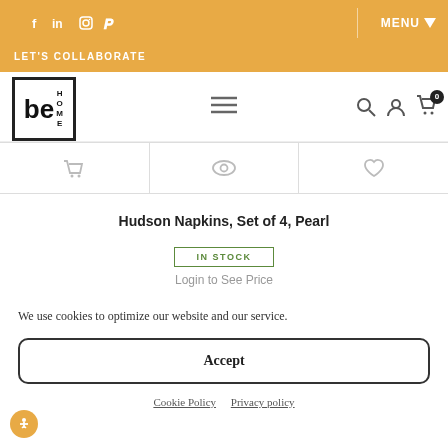Social icons: f, in, instagram, pinterest | MENU | LET'S COLLABORATE
[Figure (logo): beHOME logo — black bordered box with 'be' in large bold and 'HOME' vertically stacked]
Hudson Napkins, Set of 4, Pearl
IN STOCK
Login to See Price
We use cookies to optimize our website and our service.
Accept
Cookie Policy   Privacy policy